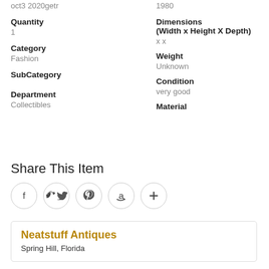oct3 2020getr
1980
Quantity
1
Dimensions (Width x Height X Depth)
x x
Category
Fashion
Weight
Unknown
SubCategory
Condition
very good
Department
Collectibles
Material
Share This Item
[Figure (infographic): Social share icons: Facebook, Twitter, Pinterest, Amazon, Plus]
Neatstuff Antiques
Spring Hill, Florida